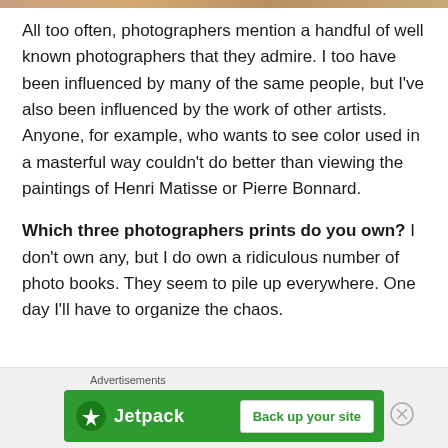[Figure (photo): Partial image strip at top of page showing warm tones]
All too often, photographers mention a handful of well known photographers that they admire. I too have been influenced by many of the same people, but I've also been influenced by the work of other artists. Anyone, for example, who wants to see color used in a masterful way couldn't do better than viewing the paintings of Henri Matisse or Pierre Bonnard.
Which three photographers prints do you own? I don't own any, but I do own a ridiculous number of photo books. They seem to pile up everywhere. One day I'll have to organize the chaos.
[Figure (other): Jetpack advertisement banner: 'Advertisements' label above a green banner with Jetpack logo and 'Back up your site' button]